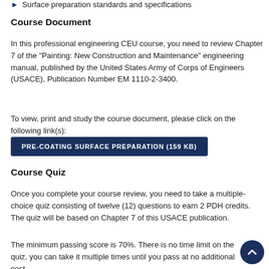Surface preparation standards and specifications
Course Document
In this professional engineering CEU course, you need to review Chapter 7 of the "Painting: New Construction and Maintenance" engineering manual, published by the United States Army of Corps of Engineers (USACE), Publication Number EM 1110-2-3400.
To view, print and study the course document, please click on the following link(s):
[Figure (other): Button labeled PRE-COATING SURFACE PREPARATION (159 KB) in dark navy blue]
Course Quiz
Once you complete your course review, you need to take a multiple-choice quiz consisting of twelve (12) questions to earn 2 PDH credits. The quiz will be based on Chapter 7 of this USACE publication.
The minimum passing score is 70%. There is no time limit on the quiz, you can take it multiple times until you pass at no additional cost.